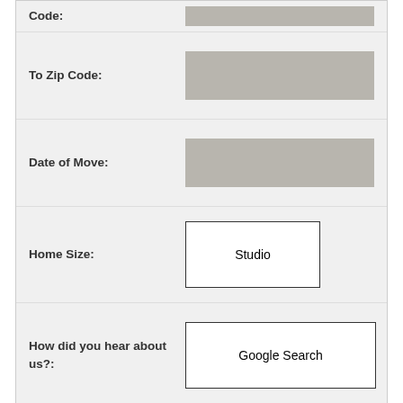Code:
To Zip Code:
Date of Move:
Home Size:
How did you hear about us?:
Studio
Google Search
SUBMIT
[Figure (photo): Workers in green shirts moving and packing boxes/pallets in a warehouse setting. Left half shows a man leaning over stacked items, right half shows three workers near boxes.]